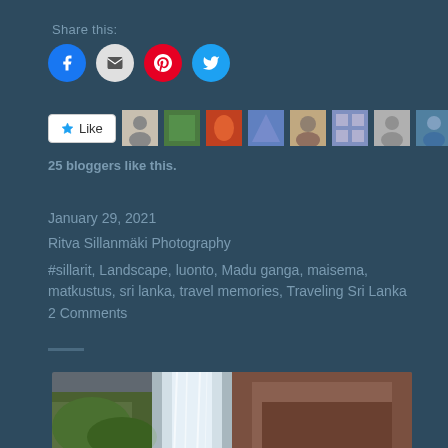Share this:
[Figure (infographic): Social share buttons: Facebook (blue circle), Email (grey circle), Pinterest (red circle), Twitter (cyan circle)]
[Figure (infographic): Like button with star icon and 10 blogger avatar thumbnails]
25 bloggers like this.
January 29, 2021
Ritva Sillanmäki Photography
#sillarit, Landscape, luonto, Madu ganga, maisema, matkustus, sri lanka, travel memories, Traveling Sri Lanka
2 Comments
[Figure (photo): Waterfall cascading over rocky terrain with green foliage on the left side]